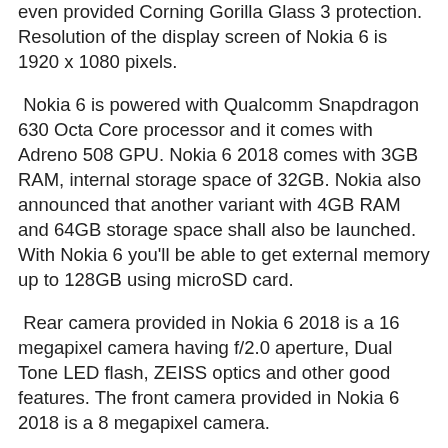even provided Corning Gorilla Glass 3 protection. Resolution of the display screen of Nokia 6 is 1920 x 1080 pixels.
Nokia 6 is powered with Qualcomm Snapdragon 630 Octa Core processor and it comes with Adreno 508 GPU. Nokia 6 2018 comes with 3GB RAM, internal storage space of 32GB. Nokia also announced that another variant with 4GB RAM and 64GB storage space shall also be launched. With Nokia 6 you'll be able to get external memory up to 128GB using microSD card.
Rear camera provided in Nokia 6 2018 is a 16 megapixel camera having f/2.0 aperture, Dual Tone LED flash, ZEISS optics and other good features. The front camera provided in Nokia 6 2018 is a 8 megapixel camera.
Connectivity features provided in Nokia 6 2018 are GPS, Bluetooth, 4G, VoLTE, WiFi, and NFC. It will come with USB Type C port.
As per the information available, it is priced at $306. It shall get launched in India at price around Rs 20,000.